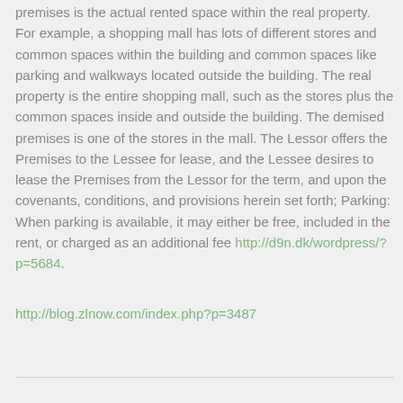premises is the actual rented space within the real property. For example, a shopping mall has lots of different stores and common spaces within the building and common spaces like parking and walkways located outside the building. The real property is the entire shopping mall, such as the stores plus the common spaces inside and outside the building. The demised premises is one of the stores in the mall. The Lessor offers the Premises to the Lessee for lease, and the Lessee desires to lease the Premises from the Lessor for the term, and upon the covenants, conditions, and provisions herein set forth; Parking: When parking is available, it may either be free, included in the rent, or charged as an additional fee http://d9n.dk/wordpress/?p=5684.
http://blog.zlnow.com/index.php?p=3487